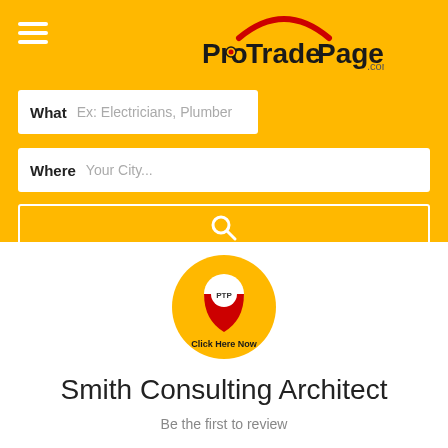[Figure (logo): ProTradePages.com logo with red arc swoosh above text]
What  Ex: Electricians, Plumber
Where  Your City...
[Figure (illustration): PTP map pin badge with 'Click Here Now' text on yellow circle]
Smith Consulting Architect
Be the first to review